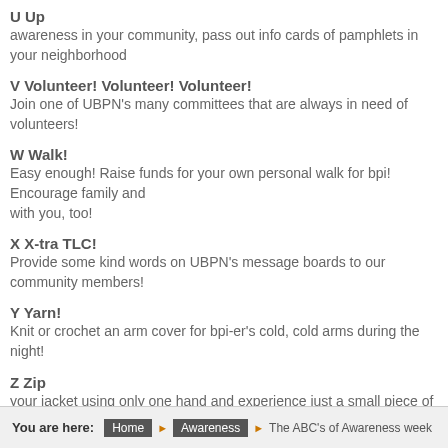U Up
awareness in your community, pass out info cards of pamphlets in your neighborhood
V Volunteer! Volunteer! Volunteer!
Join one of UBPN's many committees that are always in need of volunteers!
W Walk!
Easy enough! Raise funds for your own personal walk for bpi! Encourage family and with you, too!
X X-tra TLC!
Provide some kind words on UBPN's message boards to our community members!
Y Yarn!
Knit or crochet an arm cover for bpi-er's cold, cold arms during the night!
Z Zip
your jacket using only one hand and experience just a small piece of having a brach
You are here: Home > Awareness > The ABC's of Awareness week